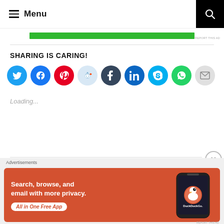Menu
[Figure (infographic): Green advertisement banner bar]
SHARING IS CARING!
[Figure (infographic): Social sharing icon buttons: Twitter, Facebook, Pinterest, Reddit, Tumblr, LinkedIn, Skype, WhatsApp, Email]
Loading...
[Figure (infographic): DuckDuckGo advertisement: Search, browse, and email with more privacy. All in One Free App. Shows a phone with DuckDuckGo logo.]